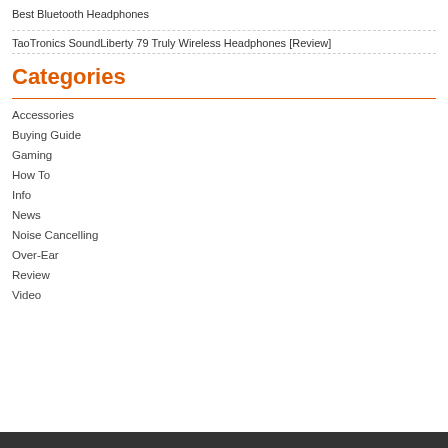Best Bluetooth Headphones
TaoTronics SoundLiberty 79 Truly Wireless Headphones [Review]
Categories
Accessories
Buying Guide
Gaming
How To
Info
News
Noise Cancelling
Over-Ear
Review
Video